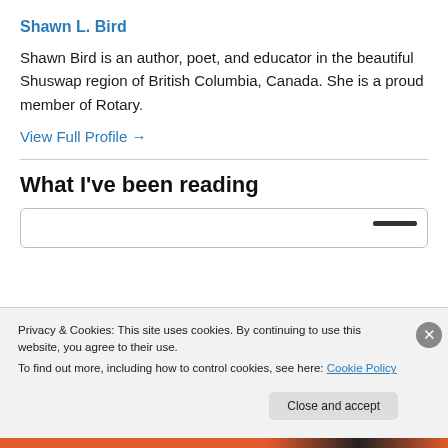Shawn L. Bird
Shawn Bird is an author, poet, and educator in the beautiful Shuswap region of British Columbia, Canada. She is a proud member of Rotary.
View Full Profile →
What I've been reading
Privacy & Cookies: This site uses cookies. By continuing to use this website, you agree to their use.
To find out more, including how to control cookies, see here: Cookie Policy
Close and accept